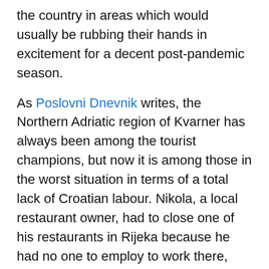the country in areas which would usually be rubbing their hands in excitement for a decent post-pandemic season.
As Poslovni Dnevnik writes, the Northern Adriatic region of Kvarner has always been among the tourist champions, but now it is among those in the worst situation in terms of a total lack of Croatian labour. Nikola, a local restaurant owner, had to close one of his restaurants in Rijeka because he had no one to employ to work there, which is absolutely disastrous considering the sheer importance of the tourism sector for the Croatian economy and the nation's overall GDP.
"Every now and then someone would leave, they'd receive immoral offers both in terms of working for the summer season, as well as for some other
×